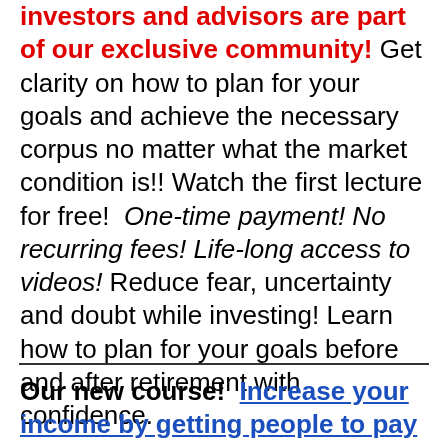investors and advisors are part of our exclusive community! Get clarity on how to plan for your goals and achieve the necessary corpus no matter what the market condition is!! Watch the first lecture for free! One-time payment! No recurring fees! Life-long access to videos! Reduce fear, uncertainty and doubt while investing! Learn how to plan for your goals before and after retirement with confidence.
Our new course! Increase your income by getting people to pay for